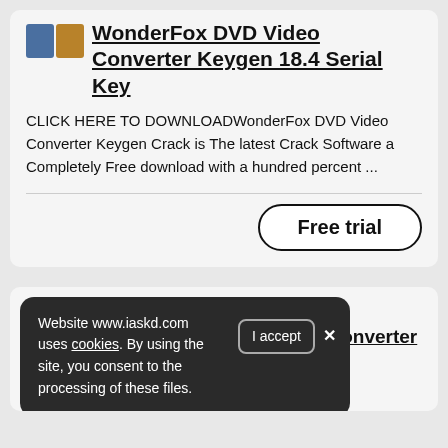WonderFox DVD Video Converter Keygen 18.4 Serial Key
CLICK HERE TO DOWNLOADWonderFox DVD Video Converter Keygen Crack is The latest Crack Software a Completely Free download with a hundred percent ...
Free trial
Website www.iaskd.com uses cookies. By using the site, you consent to the processing of these files.
WonderFox DVD Video Converter Crack 18.1 Full [New]